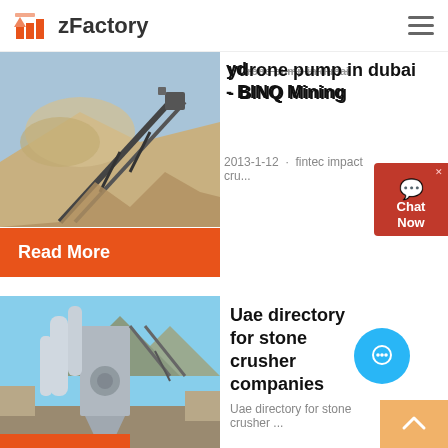zFactory
ydrone pump in dubai - BINQ Mining
2013-1-12 · fintec impact cru...
Read More
[Figure (photo): Industrial conveyor belt with dust cloud at a mining site]
[Figure (photo): Industrial stone crusher / grinding mill equipment outdoors]
Uae directory for stone crusher companies
Uae directory for stone crusher ...